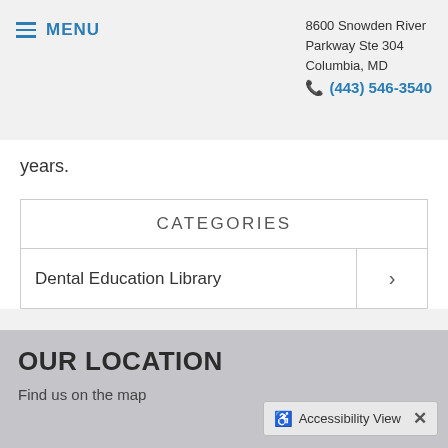MENU | 8600 Snowden River Parkway Ste 304, Columbia, MD | (443) 546-3540
years.
| CATEGORIES |  |
| --- | --- |
| Dental Education Library | > |
OUR LOCATION
Find us on the map
Accessibility View